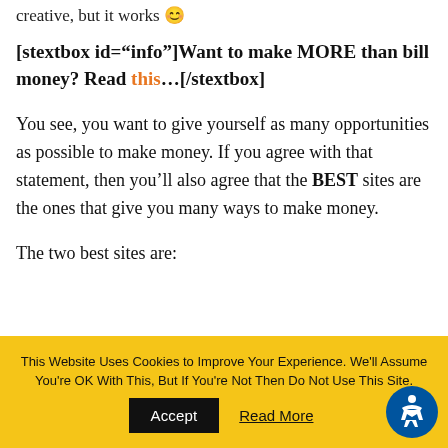creative, but it works 😊
[stextbox id="info"]Want to make MORE than bill money? Read this…[/stextbox]
You see, you want to give yourself as many opportunities as possible to make money. If you agree with that statement, then you'll also agree that the BEST sites are the ones that give you many ways to make money.
The two best sites are:
This Website Uses Cookies to Improve Your Experience. We'll Assume You're OK With This, But If You're Not Then Do Not Use This Site.